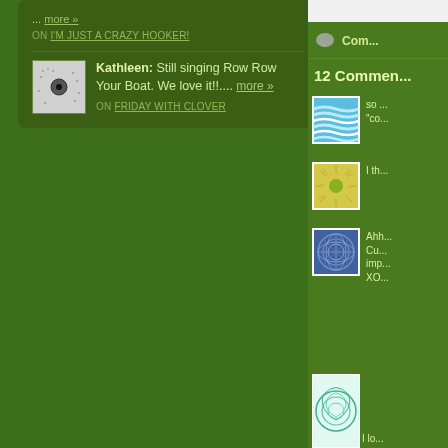ON I'M JUST A CRAZY HOOKER!
Kathleen: Still singing Row Row Your Boat. We love it!!.... more »
ON FRIDAY WITH CLOVER
12 Comments
so ... "co...
I th...
Ahh Cut... imp... XO...
I lo...